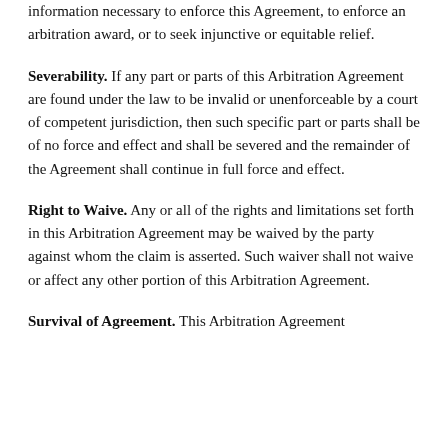information necessary to enforce this Agreement, to enforce an arbitration award, or to seek injunctive or equitable relief.
Severability. If any part or parts of this Arbitration Agreement are found under the law to be invalid or unenforceable by a court of competent jurisdiction, then such specific part or parts shall be of no force and effect and shall be severed and the remainder of the Agreement shall continue in full force and effect.
Right to Waive. Any or all of the rights and limitations set forth in this Arbitration Agreement may be waived by the party against whom the claim is asserted. Such waiver shall not waive or affect any other portion of this Arbitration Agreement.
Survival of Agreement. This Arbitration Agreement